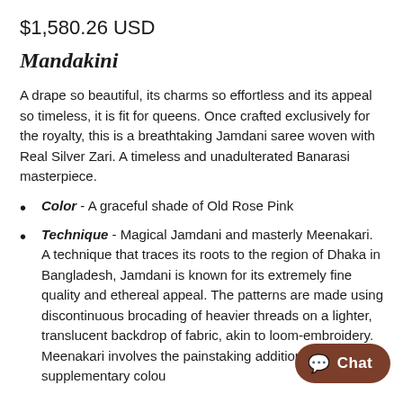$1,580.26 USD
Mandakini
A drape so beautiful, its charms so effortless and its appeal so timeless, it is fit for queens. Once crafted exclusively for the royalty, this is a breathtaking Jamdani saree woven with Real Silver Zari. A timeless and unadulterated Banarasi masterpiece.
Color - A graceful shade of Old Rose Pink
Technique - Magical Jamdani and masterly Meenakari.  A technique that traces its roots to the region of Dhaka in Bangladesh, Jamdani is known for its extremely fine quality and ethereal appeal. The patterns are made using discontinuous brocading of heavier threads on a lighter, translucent backdrop of fabric, akin to loom-embroidery. Meenakari involves the painstaking addition of supplementary coloured resham threads during the hand-weaving p
Fabric - Light, Airy and Translucent, pure Cotton
Sandhi - With match the color of each the at that